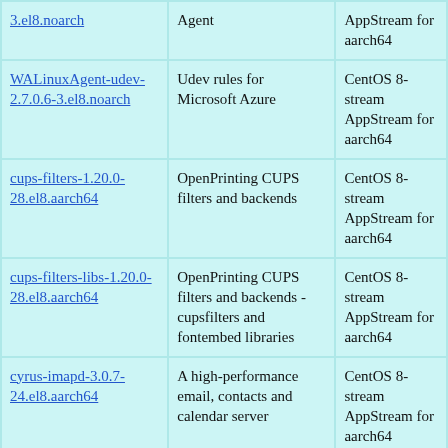| Package | Description | Repository |
| --- | --- | --- |
| 3.el8.noarch | Agent | AppStream for aarch64 |
| WALinuxAgent-udev-2.7.0.6-3.el8.noarch | Udev rules for Microsoft Azure | CentOS 8-stream AppStream for aarch64 |
| cups-filters-1.20.0-28.el8.aarch64 | OpenPrinting CUPS filters and backends | CentOS 8-stream AppStream for aarch64 |
| cups-filters-libs-1.20.0-28.el8.aarch64 | OpenPrinting CUPS filters and backends - cupsfilters and fontembed libraries | CentOS 8-stream AppStream for aarch64 |
| cyrus-imapd-3.0.7-24.el8.aarch64 | A high-performance email, contacts and calendar server | CentOS 8-stream AppStream for aarch64 |
| (partial row) |  | CentOS 8- |